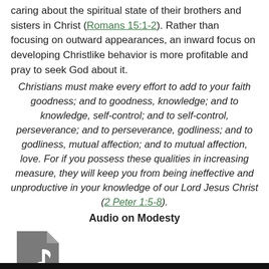caring about the spiritual state of their brothers and sisters in Christ (Romans 15:1-2). Rather than focusing on outward appearances, an inward focus on developing Christlike behavior is more profitable and pray to seek God about it.
Christians must make every effort to add to your faith goodness; and to goodness, knowledge; and to knowledge, self-control; and to self-control, perseverance; and to perseverance, godliness; and to godliness, mutual affection; and to mutual affection, love. For if you possess these qualities in increasing measure, they will keep you from being ineffective and unproductive in your knowledge of our Lord Jesus Christ (2 Peter 1:5-8).
Audio on Modesty
[Figure (illustration): Gray audio/music file icon with a musical note symbol]
“Simplicity, Modesty, Separation” Parkview Mennonite Church Roger Martin Audio Player